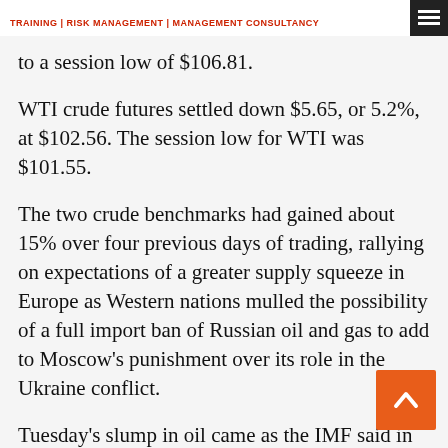TRAINING | RISK MANAGEMENT | MANAGEMENT CONSULTANCY
to a session low of $106.81.
WTI crude futures settled down $5.65, or 5.2%, at $102.56. The session low for WTI was $101.55.
The two crude benchmarks had gained about 15% over four previous days of trading, rallying on expectations of a greater supply squeeze in Europe as Western nations mulled the possibility of a full import ban of Russian oil and gas to add to Moscow’s punishment over its role in the Ukraine conflict.
Tuesday’s slump in oil came as the IMF said in an update of its World Economic Outlook that global gross domestic product, or GDP, will likely expand by only 3.6% this year and next. That was a downgrade of 0.8 percentage point